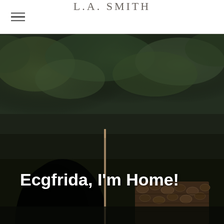L.A. SMITH
[Figure (photo): Dark atmospheric photo of a thatched or moss-covered stone structure with an arched opening/tunnel, a tool leaning against it, and a pile of logs to the right. The scene has a dark, moody quality.]
Ecgfrida, I'm Home!